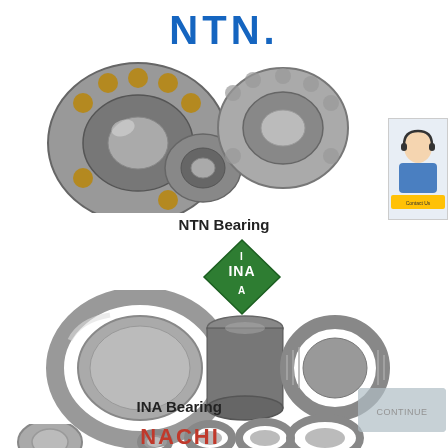[Figure (logo): NTN brand logo in blue bold text]
[Figure (photo): NTN spherical roller bearings - three bearings of different sizes shown]
NTN Bearing
[Figure (logo): INA brand logo - green diamond shape with INA text in white]
[Figure (photo): INA needle roller bearings and races - multiple bearings of varying sizes]
INA Bearing
[Figure (logo): NACHI brand logo in red bold text with partial bearing image]